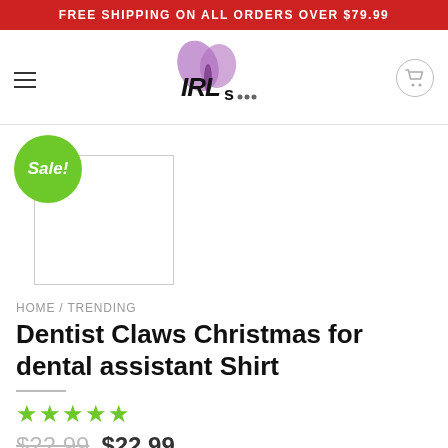FREE SHIPPING ON ALL ORDERS OVER $79.99
[Figure (logo): IRI's store logo with stylized text and purple butterfly graphic]
[Figure (photo): Product image placeholder with Sale! badge overlay]
HOME / TRENDING
Dentist Claws Christmas for dental assistant Shirt
★★★★★
$22.99  $22.99